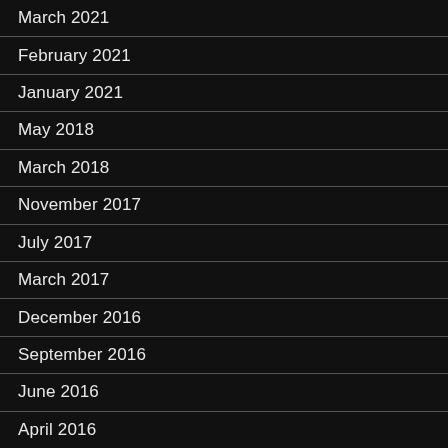March 2021
February 2021
January 2021
May 2018
March 2018
November 2017
July 2017
March 2017
December 2016
September 2016
June 2016
April 2016